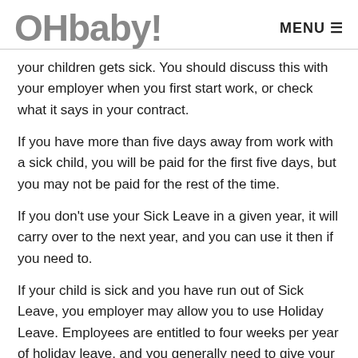OHbaby! MENU
your children gets sick. You should discuss this with your employer when you first start work, or check what it says in your contract.
If you have more than five days away from work with a sick child, you will be paid for the first five days, but you may not be paid for the rest of the time.
If you don't use your Sick Leave in a given year, it will carry over to the next year, and you can use it then if you need to.
If your child is sick and you have run out of Sick Leave, you employer may allow you to use Holiday Leave. Employees are entitled to four weeks per year of holiday leave, and you generally need to give your employer 14 days notice if you wish to take it. In an emergency situation, however, it is at your employer's discretion, and he or she might allow you to